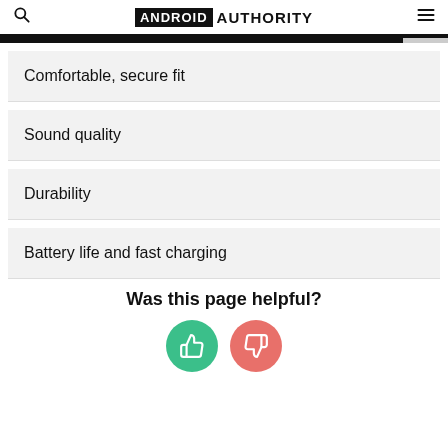ANDROID AUTHORITY
Comfortable, secure fit
Sound quality
Durability
Battery life and fast charging
Was this page helpful?